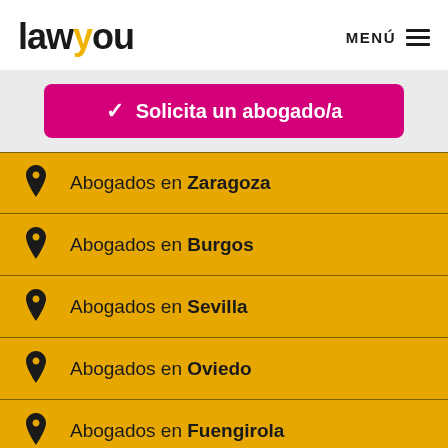lawyou — MENÚ
✓ Solicita un abogado/a
Abogados en Zaragoza
Abogados en Burgos
Abogados en Sevilla
Abogados en Oviedo
Abogados en Fuengirola
Abogados en Soria